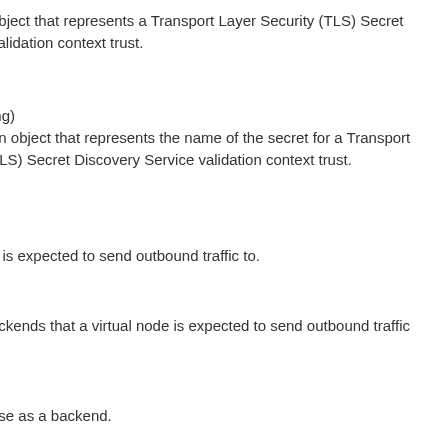object that represents a Transport Layer Security (TLS) Secret validation context trust.
ing)
an object that represents the name of the secret for a Transport TLS) Secret Discovery Service validation context trust.
e is expected to send outbound traffic to.
ackends that a virtual node is expected to send outbound traffic
use as a backend.